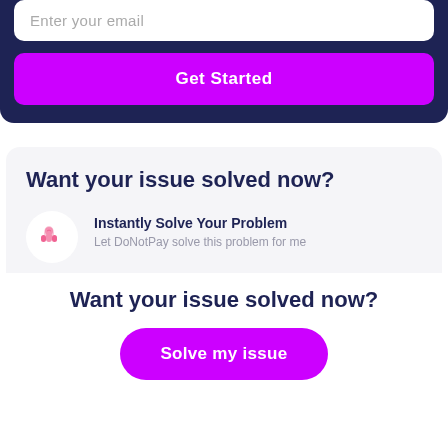Enter your email
Get Started
Want your issue solved now?
Instantly Solve Your Problem
Let DoNotPay solve this problem for me
Want your issue solved now?
Solve my issue